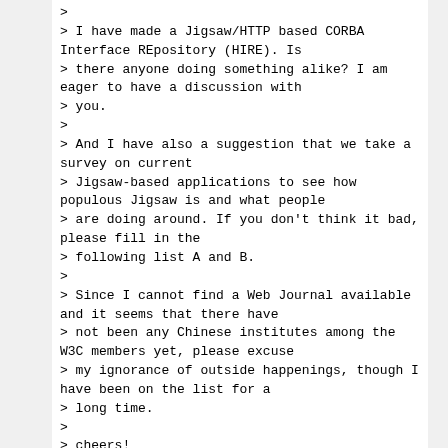>
> I have made a Jigsaw/HTTP based CORBA Interface REpository (HIRE). Is
> there anyone doing something alike? I am eager to have a discussion with
> you.
>
> And I have also a suggestion that we take a survey on current
> Jigsaw-based applications to see how populous Jigsaw is and what people
> are doing around. If you don't think it bad, please fill in the
> following list A and B.
>
> Since I cannot find a Web Journal available and it seems that there have
> not been any Chinese institutes among the W3C members yet, please excuse
> my ignorance of outside happenings, though I have been on the list for a
> long time.
>
> cheers!
>
> Zhang Xun,
>
> Depatment of Computer Science and Engineering,
> Southeast University, Nanjing, Jiangsu